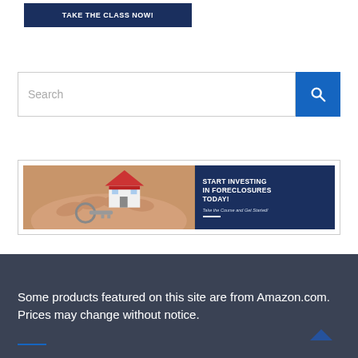[Figure (other): Dark navy blue button with bold white text reading 'TAKE THE CLASS NOW!']
[Figure (other): Search bar with placeholder text 'Search' and a blue search button with magnifying glass icon]
[Figure (other): Banner advertisement showing hands holding house keys and a small model house on left, with dark navy right side reading 'START INVESTING IN FORECLOSURES TODAY! Take the Course and Get Started!']
Some products featured on this site are from Amazon.com. Prices may change without notice.